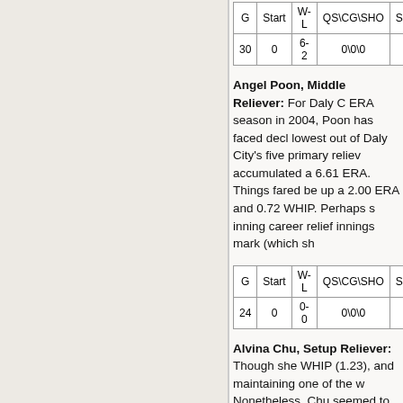| G | Start | W-L | QS\CG\SHO | Saves | B. Sa |
| --- | --- | --- | --- | --- | --- |
| 30 | 0 | 6-2 | 0\0\0 | 3 | 3 |
Angel Poon, Middle Reliever: For Daly C ERA season in 2004, Poon has faced decl lowest out of Daly City's five primary reliev accumulated a 6.61 ERA. Things fared be up a 2.00 ERA and 0.72 WHIP. Perhaps s inning career relief innings mark (which sh
| G | Start | W-L | QS\CG\SHO | Saves | B. Sa |
| --- | --- | --- | --- | --- | --- |
| 24 | 0 | 0-0 | 0\0\0 | 0 | 0 |
Alvina Chu, Setup Reliever: Though she WHIP (1.23), and maintaining one of the w Nonetheless, Chu seemed to improve in s again, Chu also led the league in reliever v
| G | Start | W-L | QS\CG\SHO | Saves | B. Sa |
| --- | --- | --- | --- | --- | --- |
| 35 | 0 | 10-2 | 0\0\0 | 1 | 1 |
Josiah Leong, Closer: 2006 was a year o a tumultuous 2005 season wracked with m as the team's closer. Two seasons ago, Le